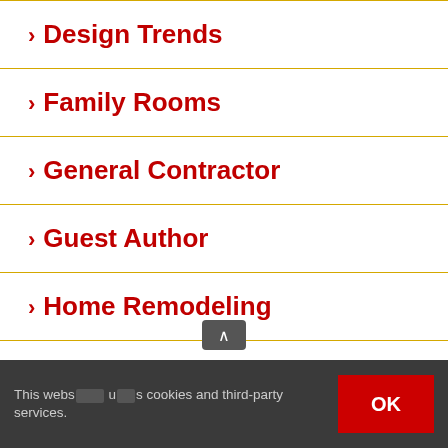> Design Trends
> Family Rooms
> General Contractor
> Guest Author
> Home Remodeling
> Kitchen Remodeling
> Living... Place cho Aging In Place
This website uses cookies and third-party services.  OK